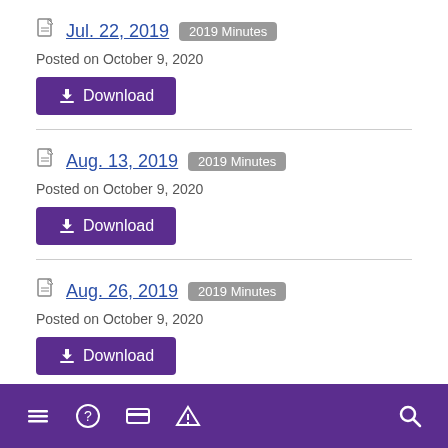Jul. 22, 2019 | 2019 Minutes | Posted on October 9, 2020 | Download
Aug. 13, 2019 | 2019 Minutes | Posted on October 9, 2020 | Download
Aug. 26, 2019 | 2019 Minutes | Posted on October 9, 2020 | Download
Navigation bar with menu, help, payment, alert, and search icons